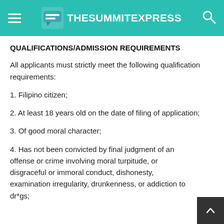TheSummitExpress
QUALIFICATIONS/ADMISSION REQUIREMENTS
All applicants must strictly meet the following qualification requirements:
1. Filipino citizen;
2. At least 18 years old on the date of filing of application;
3. Of good moral character;
4. Has not been convicted by final judgment of an offense or crime involving moral turpitude, or disgraceful or immoral conduct, dishonesty, examination irregularity, drunkenness, or addiction to dr*gs;